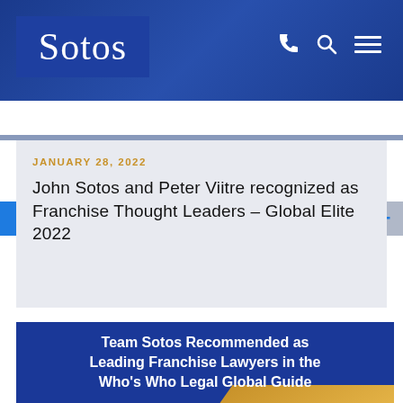Sotos
SOTOS NEWS
JANUARY 28, 2022
John Sotos and Peter Viitre recognized as Franchise Thought Leaders – Global Elite 2022
Team Sotos Recommended as Leading Franchise Lawyers in the Who's Who Legal Global Guide